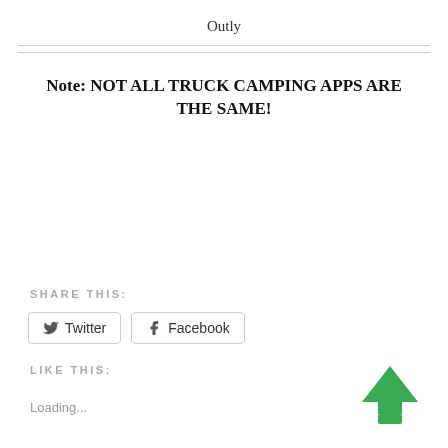Outly
Note:  NOT ALL TRUCK CAMPING APPS ARE THE SAME!
SHARE THIS:
[Figure (other): Twitter social share button with bird icon]
[Figure (other): Facebook social share button with f icon]
LIKE THIS:
Loading...
[Figure (logo): Green upward-pointing arrow/tree logo icon]